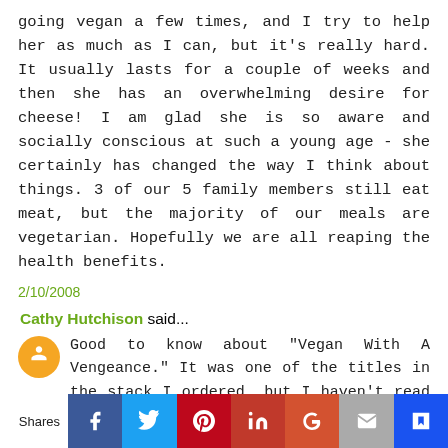going vegan a few times, and I try to help her as much as I can, but it's really hard. It usually lasts for a couple of weeks and then she has an overwhelming desire for cheese! I am glad she is so aware and socially conscious at such a young age - she certainly has changed the way I think about things. 3 of our 5 family members still eat meat, but the majority of our meals are vegetarian. Hopefully we are all reaping the health benefits.
2/10/2008
Cathy Hutchison said...
Good to know about "Vegan With A Vengeance." It was one of the titles in the stack I ordered, but I haven't read it yet. We've been cooking a lot out of "La Dolce Vegan."
2/10/2008
Shares